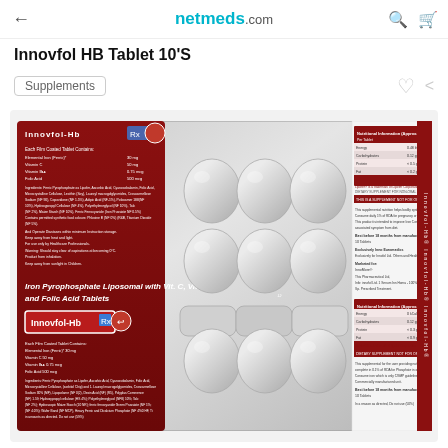netmeds.com
Innovfol HB Tablet 10'S
Supplements
[Figure (photo): Blister pack of Innovfol-HB tablets showing front and back of packaging. The pack features Iron Pyrophosphate Liposomal with Vit. C, Vit. B12 and Folic Acid Tablets branding with dark red label and silver blister bubbles containing tablets.]